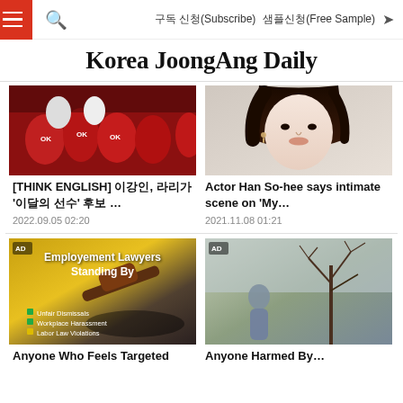Korea JoongAng Daily — 구독 신청(Subscribe)  샘플신청(Free Sample)
Korea JoongAng Daily
[Figure (photo): Soccer players in red jerseys with OK sponsor logo]
[Figure (photo): Portrait of actress Han So-hee]
[THINK ENGLISH] 이강인, 라리가 '이달의 선수' 후보 …
Actor Han So-hee says intimate scene on 'My…'
2022.09.05 02:20
2021.11.08 01:21
[Figure (photo): AD: Employement Lawyers Standing By — legal gavel image with list: Unfair Dismissals, Workplace Harassment, Labor Law Violations]
[Figure (photo): AD: Person near bare winter trees]
Anyone Who Feels Targeted
Anyone Harmed By…